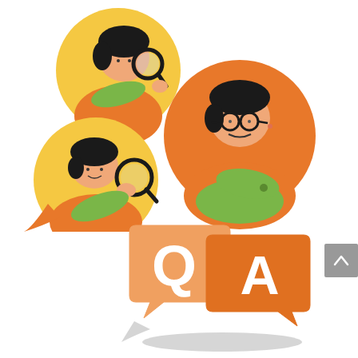[Figure (illustration): Three cartoon figures examining leaves with magnifying glasses, arranged in overlapping circular frames. Top-left figure is a woman with a yellow background circle, bottom-left figure is a man with a yellow background circle, and right figure is a man with glasses in an orange background circle. All wear orange shirts and hold green leaves. Orange speech/thought bubbles extend from the figures.]
[Figure (illustration): Two overlapping speech bubble icons in orange tones. The left bubble is larger with a light orange/peach tint and contains a white letter Q. The right bubble is darker orange and contains a white letter A. Both have a gray drop shadow underneath, forming a Q&A logo.]